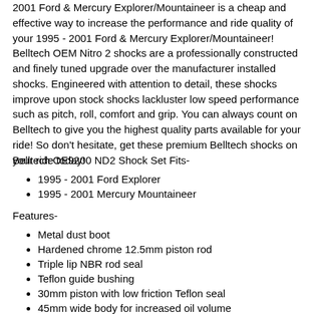2001 Ford & Mercury Explorer/Mountaineer is a cheap and effective way to increase the performance and ride quality of your 1995 - 2001 Ford & Mercury Explorer/Mountaineer! Belltech OEM Nitro 2 shocks are a professionally constructed and finely tuned upgrade over the manufacturer installed shocks. Engineered with attention to detail, these shocks improve upon stock shocks lackluster low speed performance such as pitch, roll, comfort and grip. You can always count on Belltech to give you the highest quality parts available for your ride! So don't hesitate, get these premium Belltech shocks on your ride today!
Belltech OE9200 ND2 Shock Set Fits-
1995 - 2001 Ford Explorer
1995 - 2001 Mercury Mountaineer
Features-
Metal dust boot
Hardened chrome 12.5mm piston rod
Triple lip NBR rod seal
Teflon guide bushing
30mm piston with low friction Teflon seal
45mm wide body for increased oil volume
Reinforced OEM quality rubber bushings